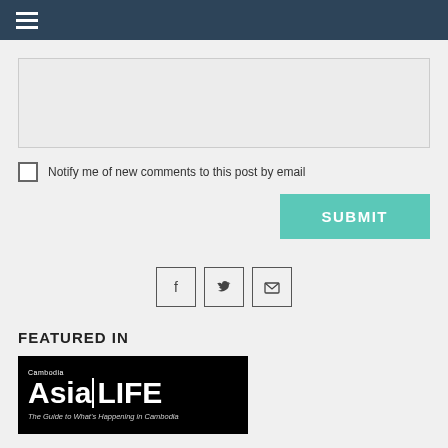Navigation bar with hamburger menu
[Figure (screenshot): Grey textarea input box for comment submission]
Notify me of new comments to this post by email
[Figure (screenshot): Submit button in teal/turquoise color with white bold text SUBMIT]
[Figure (infographic): Three social sharing icons: Facebook, Twitter, Email]
FEATURED IN
[Figure (logo): Cambodia AsiaLIFE magazine logo - black background with white text. Tagline: The Guide to What's Happening in Cambodia]